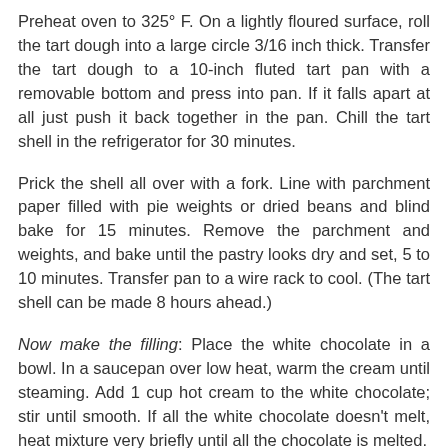Preheat oven to 325° F. On a lightly floured surface, roll the tart dough into a large circle 3/16 inch thick. Transfer the tart dough to a 10-inch fluted tart pan with a removable bottom and press into pan. If it falls apart at all just push it back together in the pan. Chill the tart shell in the refrigerator for 30 minutes.
Prick the shell all over with a fork. Line with parchment paper filled with pie weights or dried beans and blind bake for 15 minutes. Remove the parchment and weights, and bake until the pastry looks dry and set, 5 to 10 minutes. Transfer pan to a wire rack to cool. (The tart shell can be made 8 hours ahead.)
Now make the filling: Place the white chocolate in a bowl. In a saucepan over low heat, warm the cream until steaming. Add 1 cup hot cream to the white chocolate; stir until smooth. If all the white chocolate doesn't melt, heat mixture very briefly until all the chocolate is melted.
Drizzle 1/2 cup white chocolate mixture into cooled chocolate